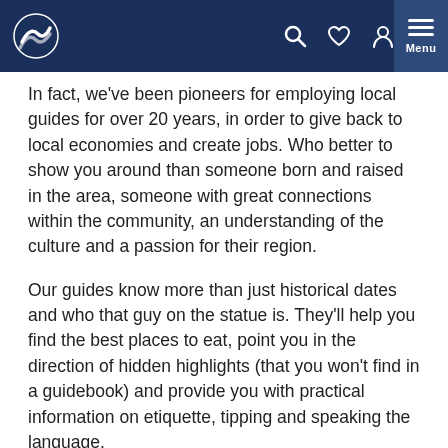Navigation bar with logo and menu icons
In fact, we've been pioneers for employing local guides for over 20 years, in order to give back to local economies and create jobs. Who better to show you around than someone born and raised in the area, someone with great connections within the community, an understanding of the culture and a passion for their region.
Our guides know more than just historical dates and who that guy on the statue is. They'll help you find the best places to eat, point you in the direction of hidden highlights (that you won't find in a guidebook) and provide you with practical information on etiquette, tipping and speaking the language.
Along with being your ticket to really getting to the heart of the destination, our expertly trained guides are there to make your trip authentic, enjoyable and hassle-free; an adventure to remember.